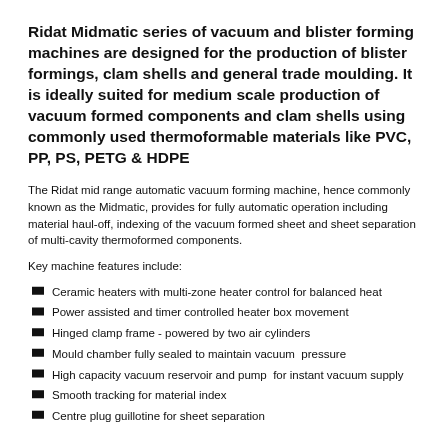Ridat Midmatic series of vacuum and blister forming machines are designed for the production of blister formings, clam shells and general trade moulding. It is ideally suited for medium scale production of vacuum formed components and clam shells using commonly used thermoformable materials like PVC, PP, PS, PETG & HDPE
The Ridat mid range automatic vacuum forming machine, hence commonly known as the Midmatic, provides for fully automatic operation including material haul-off, indexing of the vacuum formed sheet and sheet separation of multi-cavity thermoformed components.
Key machine features include:
Ceramic heaters with multi-zone heater control for balanced heat
Power assisted and timer controlled heater box movement
Hinged clamp frame - powered by two air cylinders
Mould chamber fully sealed to maintain vacuum  pressure
High capacity vacuum reservoir and pump  for instant vacuum supply
Smooth tracking for material index
Centre plug guillotine for sheet separation